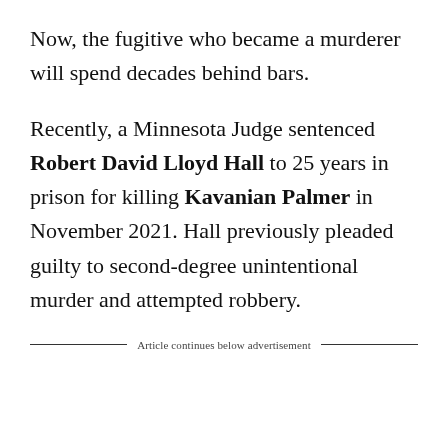Now, the fugitive who became a murderer will spend decades behind bars.
Recently, a Minnesota Judge sentenced Robert David Lloyd Hall to 25 years in prison for killing Kavanian Palmer in November 2021. Hall previously pleaded guilty to second-degree unintentional murder and attempted robbery.
Article continues below advertisement